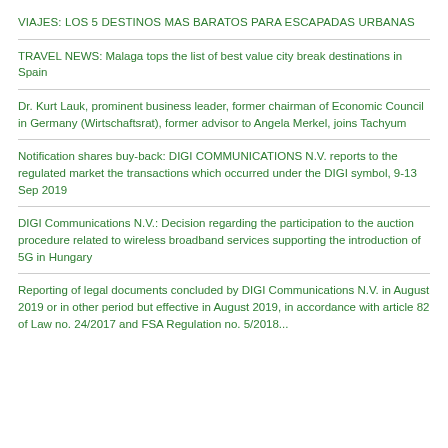VIAJES: LOS 5 DESTINOS MAS BARATOS PARA ESCAPADAS URBANAS
TRAVEL NEWS: Malaga tops the list of best value city break destinations in Spain
Dr. Kurt Lauk, prominent business leader, former chairman of Economic Council in Germany (Wirtschaftsrat), former advisor to Angela Merkel, joins Tachyum
Notification shares buy-back: DIGI COMMUNICATIONS N.V. reports to the regulated market the transactions which occurred under the DIGI symbol, 9-13 Sep 2019
DIGI Communications N.V.: Decision regarding the participation to the auction procedure related to wireless broadband services supporting the introduction of 5G in Hungary
Reporting of legal documents concluded by DIGI Communications N.V. in August 2019 or in other period but effective in August 2019, in accordance with article 82 of Law no. 24/2017 and FSA Regulation no. 5/2018...